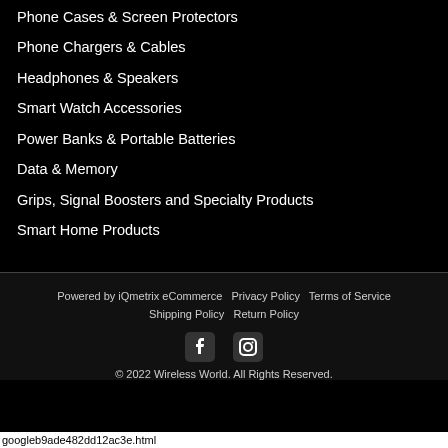Phone Cases & Screen Protectors
Phone Chargers & Cables
Headphones & Speakers
Smart Watch Accessories
Power Banks & Portable Batteries
Data & Memory
Grips, Signal Boosters and Specialty Products
Smart Home Products
Powered by iQmetrix eCommerce   Privacy Policy   Terms of Service   Shipping Policy   Return Policy
© 2022 Wireless World. All Rights Reserved.
googleb9ade482dd12ac3e.html